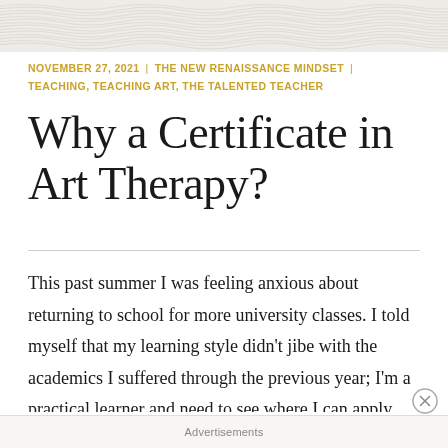[Figure (illustration): Decorative header image with a wave/pattern motif in light beige/gray tones]
NOVEMBER 27, 2021 | THE NEW RENAISSANCE MINDSET | TEACHING, TEACHING ART, THE TALENTED TEACHER
Why a Certificate in Art Therapy?
This past summer I was feeling anxious about returning to school for more university classes. I told myself that my learning style didn't jibe with the academics I suffered through the previous year; I'm a practical learner and need to see where I can apply knowledge in my classroom. I
Advertisements